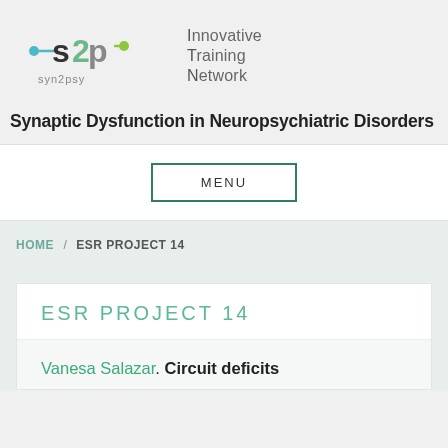[Figure (logo): syn2psy logo with stylized S-loop graphic and 'Innovative Training Network' text beside it]
Synaptic Dysfunction in Neuropsychiatric Disorders
MENU
HOME / ESR PROJECT 14
ESR PROJECT 14
Vanesa Salazar. Circuit deficits